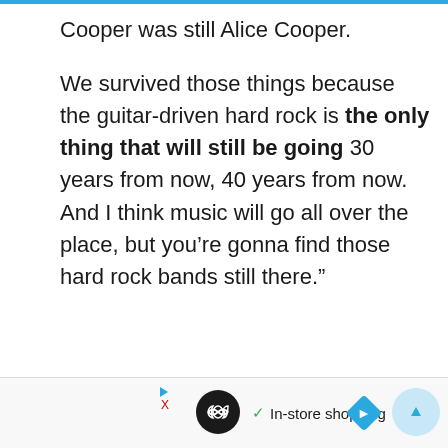Cooper was still Alice Cooper.
We survived those things because the guitar-driven hard rock is the only thing that will still be going 30 years from now, 40 years from now. And I think music will go all over the place, but you’re gonna find those hard rock bands still there.”
▷ ∞ ✓ In-store shopping